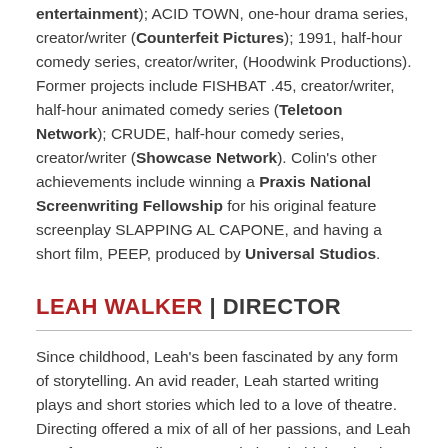entertainment); ACID TOWN, one-hour drama series, creator/writer (Counterfeit Pictures); 1991, half-hour comedy series, creator/writer, (Hoodwink Productions). Former projects include FISHBAT .45, creator/writer, half-hour animated comedy series (Teletoon Network); CRUDE, half-hour comedy series, creator/writer (Showcase Network). Colin's other achievements include winning a Praxis National Screenwriting Fellowship for his original feature screenplay SLAPPING AL CAPONE, and having a short film, PEEP, produced by Universal Studios.
LEAH WALKER | DIRECTOR
Since childhood, Leah's been fascinated by any form of storytelling. An avid reader, Leah started writing plays and short stories which led to a love of theatre. Directing offered a mix of all of her passions, and Leah was fortunate to direct several plays in high school including a